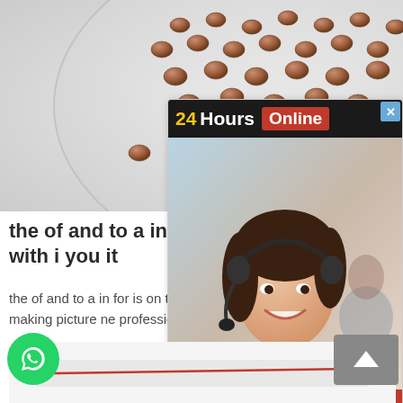[Figure (photo): Top-down view of a glass petri dish containing round brown/chocolate-colored beads or pellets on a light gray background]
the of and to a in for is o with i you it
the of and to a in for is on that by or be are from at as your all have was... fax china making picture ne professional yet month major sta committee hand...
[Figure (other): GET PRICE dark navy button]
[Figure (infographic): 24Hours Online chat popup widget with a smiling female customer service agent wearing a headset, and a Click To Chat red button at the bottom]
[Figure (photo): Bottom partial thumbnail showing a red line/wire on white background, likely a product image]
[Figure (logo): Green WhatsApp icon button (circular)]
[Figure (other): Gray scroll-to-top button with upward arrow]